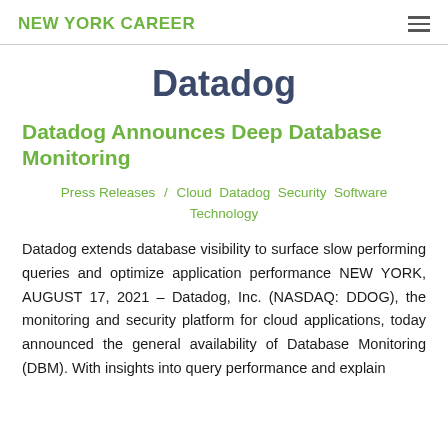NEW YORK CAREER
Datadog
Datadog Announces Deep Database Monitoring
Press Releases / Cloud Datadog Security Software Technology
Datadog extends database visibility to surface slow performing queries and optimize application performance NEW YORK, AUGUST 17, 2021 – Datadog, Inc. (NASDAQ: DDOG), the monitoring and security platform for cloud applications, today announced the general availability of Database Monitoring (DBM). With insights into query performance and explain